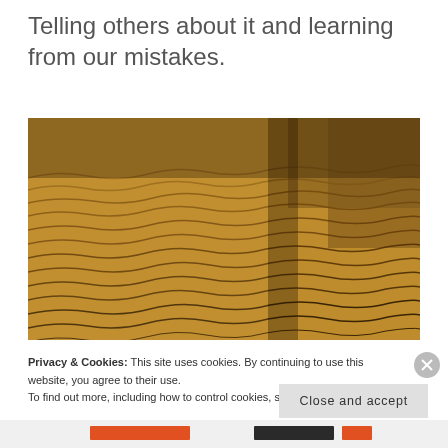Telling others about it and learning from our mistakes.
[Figure (photo): Close-up photograph of rippled sand texture in warm golden-brown tones with dark shadowed ridges creating a wavy pattern across the surface.]
Privacy & Cookies: This site uses cookies. By continuing to use this website, you agree to their use.
To find out more, including how to control cookies, see here: Cookie Policy
Close and accept